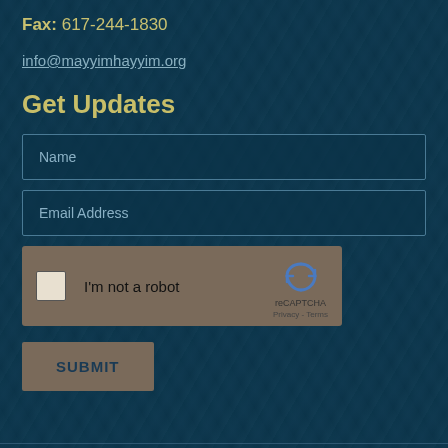Fax: 617-244-1830
info@mayyimhayyim.org
Get Updates
Name
Email Address
[Figure (other): reCAPTCHA widget with checkbox labeled 'I'm not a robot' and reCAPTCHA logo with Privacy and Terms links]
SUBMIT